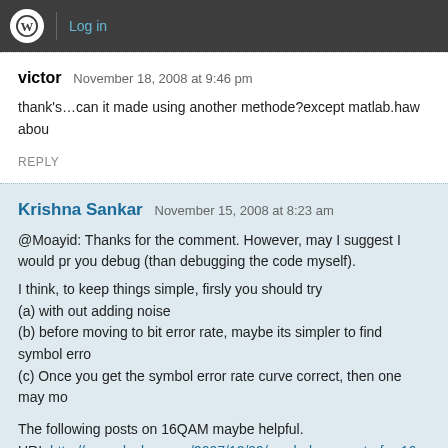Log in
victor   November 18, 2008 at 9:46 pm
thank's…can it made using another methode?except matlab.haw abou
REPLY
Krishna Sankar   November 15, 2008 at 8:23 am
@Moayid: Thanks for the comment. However, may I suggest I would pr you debug (than debugging the code myself).
I think, to keep things simple, firsly you should try
(a) with out adding noise
(b) before moving to bit error rate, maybe its simpler to find symbol erro
(c) Once you get the symbol error rate curve correct, then one may mo
The following posts on 16QAM maybe helpful.
URI: http://www.dsplog.com/2007/12/09/symbol-error-rate-for-16-qam/